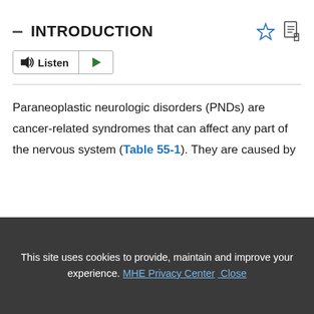INTRODUCTION
[Figure (other): Listen button with speaker icon and play button, and bookmark/PDF icons to the right]
Paraneoplastic neurologic disorders (PNDs) are cancer-related syndromes that can affect any part of the nervous system (Table 55-1). They are caused by
This site uses cookies to provide, maintain and improve your experience. MHE Privacy Center Close